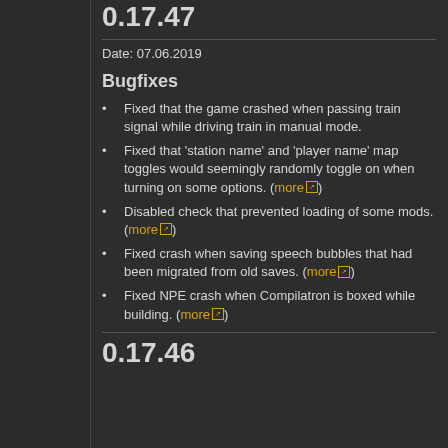0.17.47
Date: 07.06.2019
Bugfixes
Fixed that the game crashed when passing train signal while driving train in manual mode.
Fixed that 'station name' and 'player name' map toggles would seemingly randomly toggle on when turning on some options. (more)
Disabled check that prevented loading of some mods. (more)
Fixed crash when saving speech bubbles that had been migrated from old saves. (more)
Fixed NPE crash when Compilatron is boxed while building. (more)
0.17.46